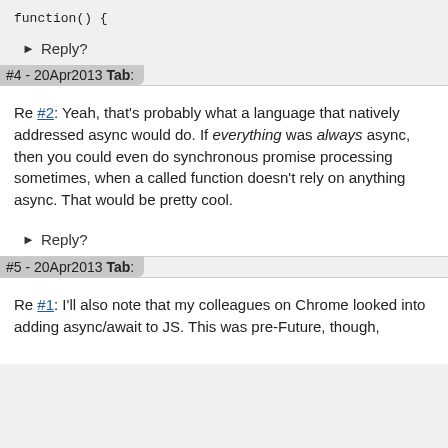function() {
▶ Reply?
#4 - 20Apr2013 Tab:
Re #2: Yeah, that's probably what a language that natively addressed async would do. If everything was always async, then you could even do synchronous promise processing sometimes, when a called function doesn't rely on anything async. That would be pretty cool.
▶ Reply?
#5 - 20Apr2013 Tab:
Re #1: I'll also note that my colleagues on Chrome looked into adding async/await to JS. This was pre-Future, though,